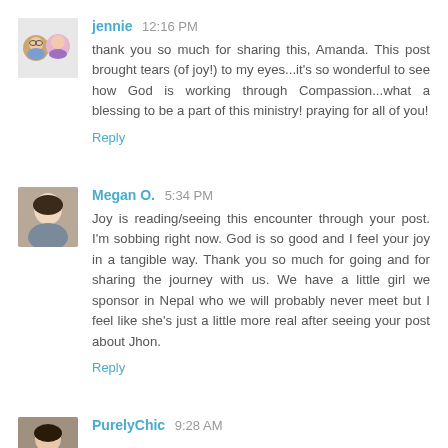jennie  12:16 PM
thank you so much for sharing this, Amanda. This post brought tears (of joy!) to my eyes...it's so wonderful to see how God is working through Compassion...what a blessing to be a part of this ministry! praying for all of you!
Reply
Megan O.  5:34 PM
Joy is reading/seeing this encounter through your post. I'm sobbing right now. God is so good and I feel your joy in a tangible way. Thank you so much for going and for sharing the journey with us. We have a little girl we sponsor in Nepal who we will probably never meet but I feel like she's just a little more real after seeing your post about Jhon.
Reply
PurelyChic  9:28 AM